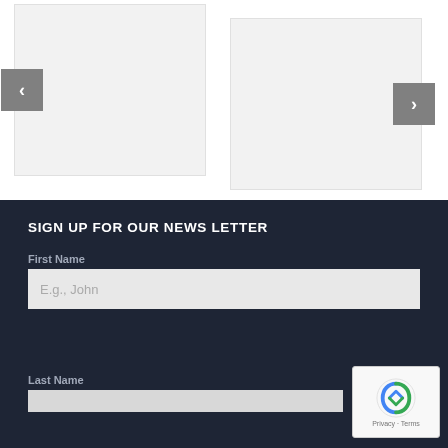[Figure (screenshot): Two image carousel panels side by side with grey background. Left panel has a left arrow navigation button on its left side. Right panel has a right arrow navigation button on its right side.]
SIGN UP FOR OUR NEWS LETTER
First Name
E.g., John
Last Name